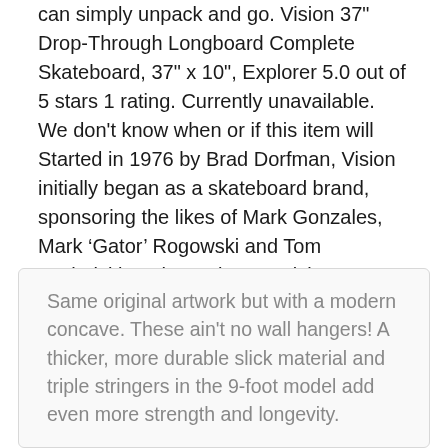can simply unpack and go. Vision 37" Drop-Through Longboard Complete Skateboard, 37" x 10", Explorer 5.0 out of 5 stars 1 rating. Currently unavailable. We don't know when or if this item will Started in 1976 by Brad Dorfman, Vision initially began as a skateboard brand, sponsoring the likes of Mark Gonzales, Mark ‘Gator’ Rogowski and Tom Groholski. In the early 80's Vision sports released their first pro model skateboard for skater Mark ‘Gator’ Rogowski.
Same original artwork but with a modern concave. These ain't no wall hangers! A thicker, more durable slick material and triple stringers in the 9-foot model add even more strength and longevity.